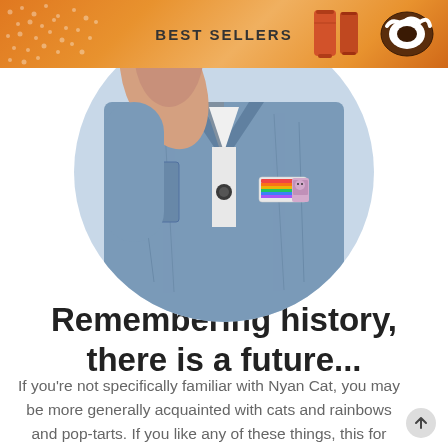BEST SELLERS
[Figure (photo): Circular cropped photo of a person wearing a denim jacket with enamel pins including a rainbow Nyan Cat pin]
Remembering history, there is a future...
If you're not specifically familiar with Nyan Cat, you may be more generally acquainted with cats and rainbows and pop-tarts. If you like any of these things, this for you!